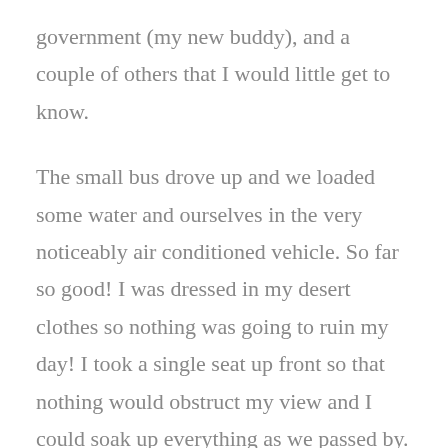government (my new buddy), and a couple of others that I would little get to know.
The small bus drove up and we loaded some water and ourselves in the very noticeably air conditioned vehicle. So far so good! I was dressed in my desert clothes so nothing was going to ruin my day! I took a single seat up front so that nothing would obstruct my view and I could soak up everything as we passed by. The first stop was a small bus stop on the highway south of Tel Aviv to pick up a team member. The team numbered seventeen people.